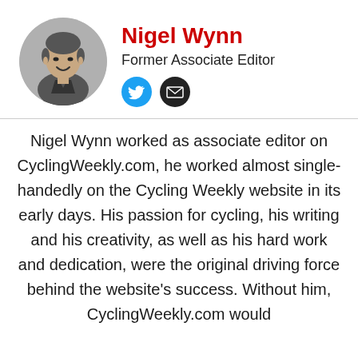[Figure (photo): Circular headshot portrait of Nigel Wynn, a man in a dark jacket, black and white photo]
Nigel Wynn
Former Associate Editor
[Figure (other): Twitter bird icon (blue circle) and email envelope icon (black circle) — social media links]
Nigel Wynn worked as associate editor on CyclingWeekly.com, he worked almost single-handedly on the Cycling Weekly website in its early days. His passion for cycling, his writing and his creativity, as well as his hard work and dedication, were the original driving force behind the website's success. Without him, CyclingWeekly.com would